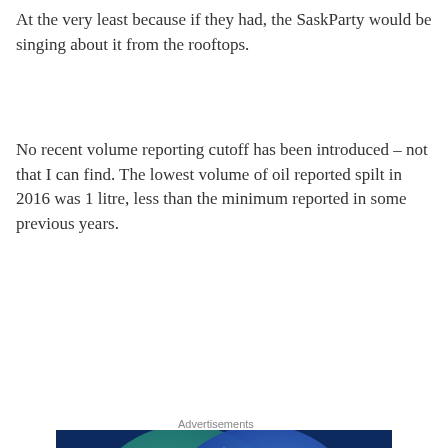At the very least because if they had, the SaskParty would be singing about it from the rooftops.
No recent volume reporting cutoff has been introduced – not that I can find. The lowest volume of oil reported spilt in 2016 was 1 litre, less than the minimum reported in some previous years.
Advertisements
[Figure (illustration): WordPress.com advertisement showing a Venn diagram with two overlapping circles on a dark blue background. Left circle (teal/green) labeled 'Everything you need', right circle (blue) labeled 'Anything you want'. Overlapping region is light blue/white. Bottom left has a pink button 'Build Your Website' and bottom right shows WordPress.com logo.]